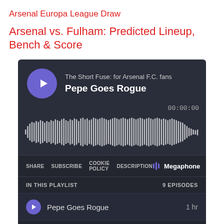Arsenal Europa League Draw
Arsenal vs. Fulham: Predicted Lineup, Bench & Score
[Figure (screenshot): Podcast player widget (Megaphone) showing 'The Short Fuse: for Arsenal F.C. fans' podcast, episode 'Pepe Goes Rogue', with waveform, time 00:00:00, share/subscribe/cookie policy/description links, Megaphone logo, playlist of 9 episodes including 'Pepe Goes Rogue' (1 hr), 'Season Preview' (1 hr 5 min), and a partially visible third episode.]